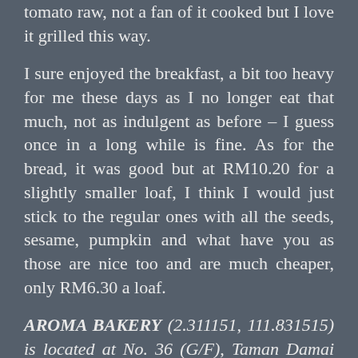tomato raw, not a fan of it cooked but I love it grilled this way.
I sure enjoyed the breakfast, a bit too heavy for me these days as I no longer eat that much, not as indulgent as before – I guess once in a long while is fine. As for the bread, it was good but at RM10.20 for a slightly smaller loaf, I think I would just stick to the regular ones with all the seeds, sesame, pumpkin and what have you as those are nice too and are much cheaper, only RM6.30 a loaf.
AROMA BAKERY (2.311151, 111.831515) is located at No. 36 (G/F), Taman Damai along Jalan Dewan Suarah, the second shop in the block on your right as you enter from Jalan Melur, after the Main Tyre